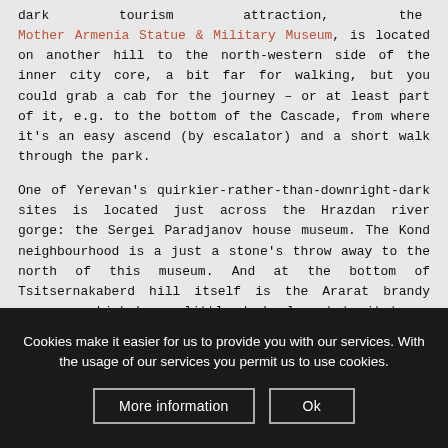dark tourism attraction, the Mother Armenia Statue & Military Museum, is located on another hill to the north-western side of the inner city core, a bit far for walking, but you could grab a cab for the journey – or at least part of it, e.g. to the bottom of the Cascade, from where it's an easy ascend (by escalator) and a short walk through the park.

One of Yerevan's quirkier-rather-than-downright-dark sites is located just across the Hrazdan river gorge: the Sergei Paradjanov house museum. The Kond neighbourhood is a just a stone's throw away to the north of this museum. And at the bottom of Tsitsernakaberd hill itself is the Ararat brandy company, which has a little dark element to it too – for more info on all of these see under Yerevan.
Cookies make it easier for us to provide you with our services. With the usage of our services you permit us to use cookies.